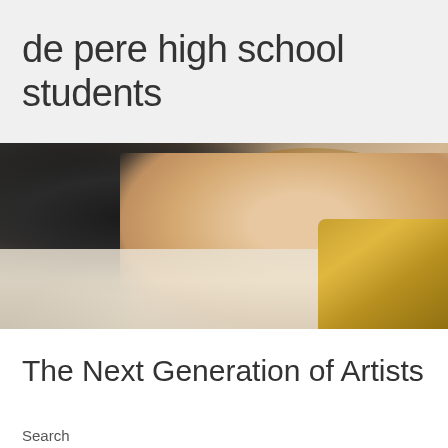de pere high school students
[Figure (photo): A young woman wearing glasses and a black lace top, lying with her head resting on sheet music, smiling at the camera, with a gold saxophone visible to the right.]
The Next Generation of Artists
Search